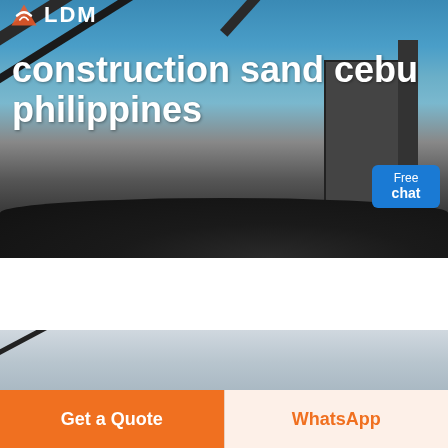[Figure (photo): Hero banner showing a construction/mining site with conveyor belts and industrial equipment against a blue sky background]
LDM
construction sand cebu philippines
[Figure (screenshot): Free chat button with customer service avatar widget]
[Figure (photo): Second photo showing conveyor belt equipment at a construction/mining site with light grey sky background]
Get a Quote
WhatsApp